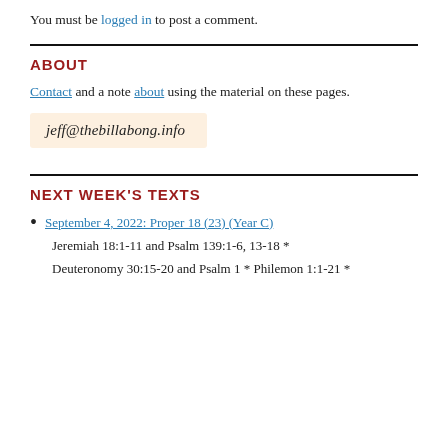You must be logged in to post a comment.
ABOUT
Contact and a note about using the material on these pages.
[Figure (other): Email address displayed in a light peach/cream colored box with italic handwriting-style font: jeff@thebillabong.info]
NEXT WEEK'S TEXTS
September 4, 2022: Proper 18 (23) (Year C)
Jeremiah 18:1-11 and Psalm 139:1-6, 13-18 *
Deuteronomy 30:15-20 and Psalm 1 * Philemon 1:1-21 *